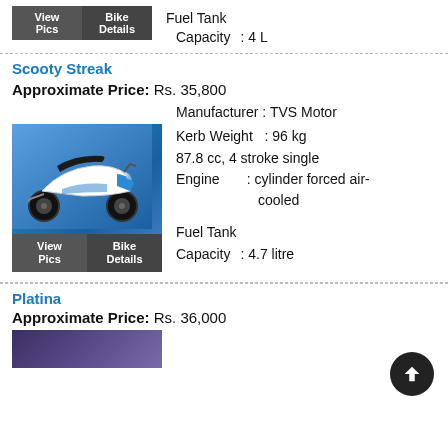[Figure (other): View Pics and Bike Details buttons for previous entry]
Fuel Tank Capacity : 4 L
Scooty Streak
Approximate Price: Rs. 35,800
Manufacturer : TVS Motor
[Figure (photo): Blue scooter (Scooty Streak) on blue background]
Kerb Weight : 96 kg
Engine : 87.8 cc, 4 stroke single cylinder forced air-cooled
[Figure (other): View Pics and Bike Details buttons for Scooty Streak]
Fuel Tank Capacity : 4.7 litre
Platina
Approximate Price: Rs. 36,000
[Figure (photo): Partial bike image at bottom]